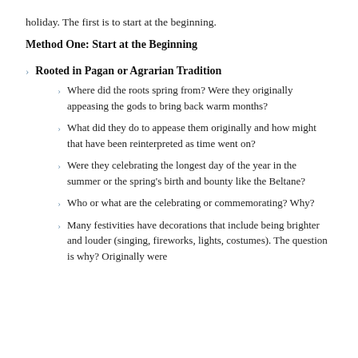holiday. The first is to start at the beginning.
Method One: Start at the Beginning
Rooted in Pagan or Agrarian Tradition
Where did the roots spring from? Were they originally appeasing the gods to bring back warm months?
What did they do to appease them originally and how might that have been reinterpreted as time went on?
Were they celebrating the longest day of the year in the summer or the spring's birth and bounty like the Beltane?
Who or what are the celebrating or commemorating? Why?
Many festivities have decorations that include being brighter and louder (singing, fireworks, lights, costumes). The question is why? Originally were